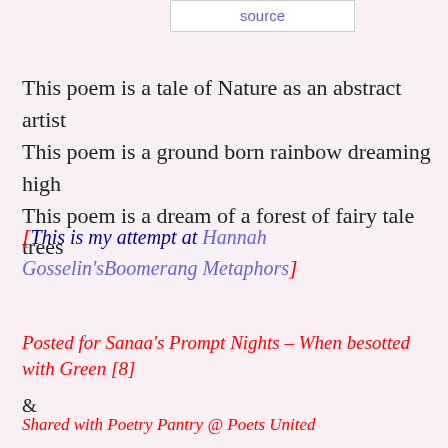source
This poem is a tale of Nature as an abstract artist
This poem is a ground born rainbow dreaming high
This poem is a dream of a forest of fairy tale trees
[This is my attempt at Hannah Gosselin'sBoomerang Metaphors]
Posted for Sanaa's Prompt Nights – When besotted with Green [8]
&
Shared with Poetry Pantry @ Poets United
Sumana Roy at 02:17
Share
23 comments: